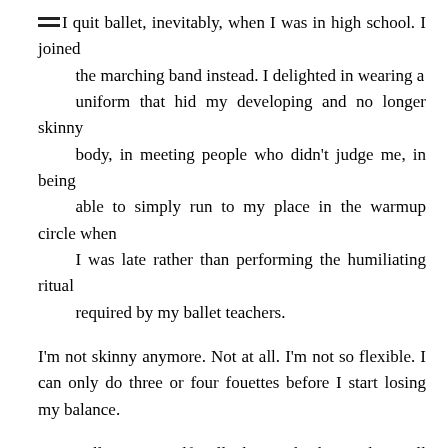I quit ballet, inevitably, when I was in high school. I joined the marching band instead. I delighted in wearing a uniform that hid my developing and no longer skinny body, in meeting people who didn't judge me, in being able to simply run to my place in the warmup circle when I was late rather than performing the humiliating ritual required by my ballet teachers.
I'm not skinny anymore. Not at all. I'm not so flexible. I can only do three or four fouettes before I start losing my balance.
But I still carry myself well, chin up, back straight. I still love to dance, though I prefer to dance to the Black Eyed Peas instead of Tchaikovsky.
Sometimes I regret quitting ballet because I'd invested so much into it. But I'm thankful every day that ritualized